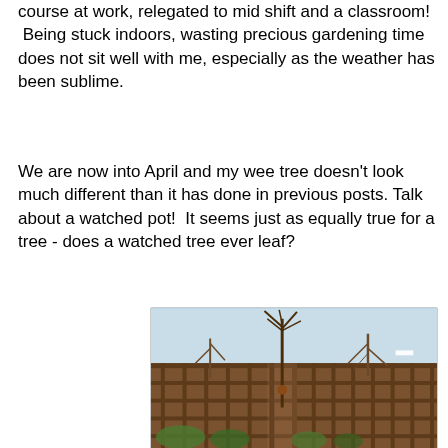course at work, relegated to mid shift and a classroom!  Being stuck indoors, wasting precious gardening time does not sit well with me, especially as the weather has been sublime.
We are now into April and my wee tree doesn't look much different than it has done in previous posts. Talk about a watched pot!  It seems just as equally true for a tree - does a watched tree ever leaf?
[Figure (photo): A small bare tree tied to a wooden lattice fence/trellis, photographed against a pale blue sky, with other bare trees and garden greenery visible behind the fence.]